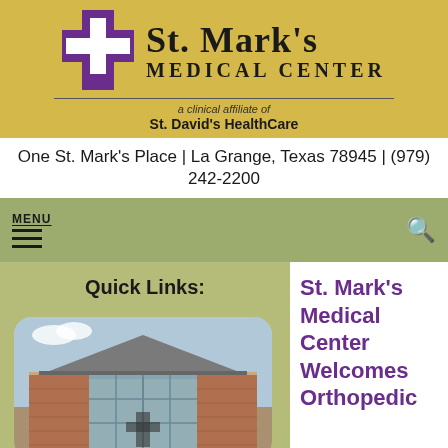[Figure (logo): St. Mark's Medical Center logo with purple cross and hospital name on gold background]
One St. Mark's Place | La Grange, Texas 78945 | (979) 242-2200
MENU
Quick Links:
[Figure (photo): St. Mark's Medical Center building exterior with brick facade and glass entrance]
St. Mark's Medical Center Welcomes Orthopedic